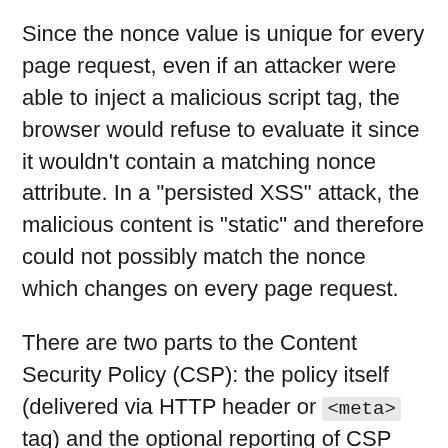Since the nonce value is unique for every page request, even if an attacker were able to inject a malicious script tag, the browser would refuse to evaluate it since it wouldn't contain a matching nonce attribute. In a "persisted XSS" attack, the malicious content is "static" and therefore could not possibly match the nonce which changes on every page request.
There are two parts to the Content Security Policy (CSP): the policy itself (delivered via HTTP header or <meta> tag) and the optional reporting of CSP violations to an API end-point. In an attempt to centralize the handling of all-things-CSP, I created a ContentSecurityPolicy.cfc ColdFusion